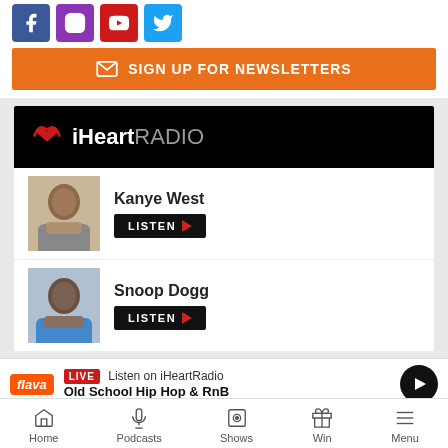[Figure (infographic): Social media icons row: Facebook (blue), Instagram (purple), YouTube (red), Twitter (light blue)]
[Figure (infographic): Orange newsletter signup button with envelope icon and text SIGN UP FOR NEWSLETTERS]
[Figure (infographic): iHeartRADIO widget with black header logo, Kanye West artist row with LISTEN button, Snoop Dogg artist row with LISTEN button]
LIVE  Listen on iHeartRadio
Old School Hip Hop & RnB
[Figure (infographic): Bottom navigation bar with Home, Podcasts, Shows, Win, Menu icons]